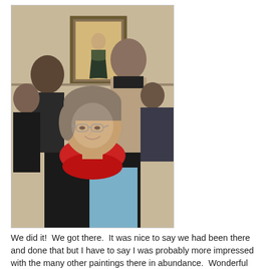[Figure (photo): Photo of a woman wearing glasses and a red knitted cowl scarf with a light blue garment, smiling and looking back at the camera. In the background, several people are standing in front of the Mona Lisa painting on a museum wall.]
We did it!  We got there.  It was nice to say we had been there and done that but I have to say I was probably more impressed with the many other paintings there in abundance.  Wonderful images from the 15th century onwards, I am not sure how all have survived these many years.  This area of the museum also had many statues from the Roman era and they were fascinating as well.